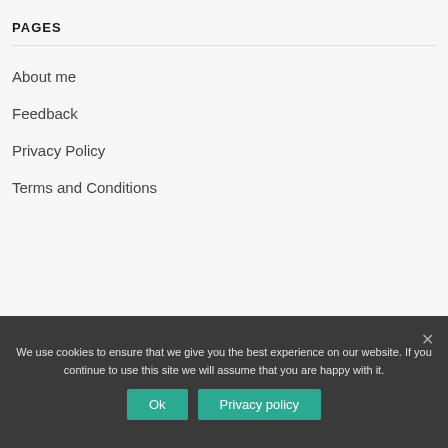PAGES
About me
Feedback
Privacy Policy
Terms and Conditions
We use cookies to ensure that we give you the best experience on our website. If you continue to use this site we will assume that you are happy with it.
Ok
Privacy policy